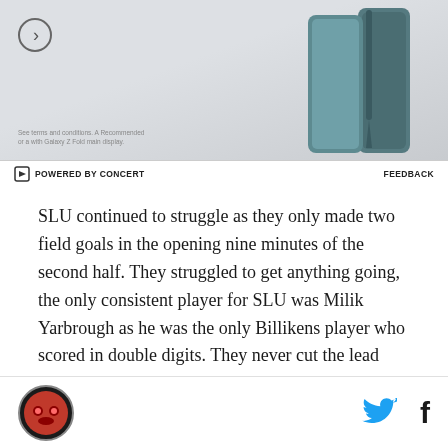[Figure (photo): Advertisement banner showing a Samsung Galaxy Z Fold phone with a play/next button circle icon and small descriptive text. Footer shows 'POWERED BY CONCERT' on the left and 'FEEDBACK' on the right.]
SLU continued to struggle as they only made two field goals in the opening nine minutes of the second half. They struggled to get anything going, the only consistent player for SLU was Milik Yarbrough as he was the only Billikens player who scored in double digits. They never cut the lead back down to single digits or had sustained offensive production.
The Rams had their most consistent game since the loss of their point guard Briante Weber. They pretty
[logo] [twitter icon] [facebook icon]